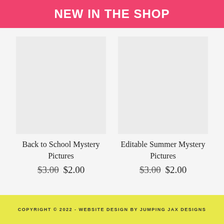NEW IN THE SHOP
Back to School Mystery Pictures
$3.00 $2.00
Editable Summer Mystery Pictures
$3.00 $2.00
COPYRIGHT © 2022 - WEBSITE DESIGN BY JUMPING JAX DESIGNS